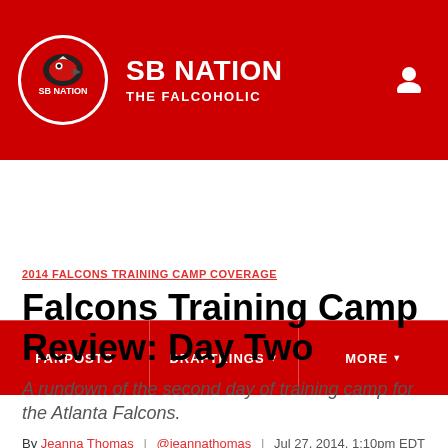SB NATION / THE FALCOHOLIC
2014 FALCONS TRAINING CAMP COVERAGE
Falcons Training Camp Review: Day Two
A rundown of the second day of training camp for the Atlanta Falcons.
By Jeanna Thomas | @jeannathomas | Jul 27, 2014, 1:10pm EDT